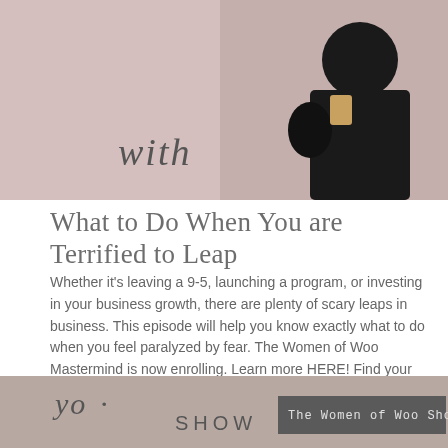[Figure (photo): A woman in black clothing holding a drink and a bag, standing in front of a dusty rose/pink background. Script text 'with' overlaid on the lower left of the image.]
What to Do When You are Terrified to Leap
Whether it's leaving a 9-5, launching a program, or investing in your business growth, there are plenty of scary leaps in business. This episode will help you know exactly what to do when you feel paralyzed by fear. The Women of Woo Mastermind is now enrolling. Learn more HERE! Find your Spirit Leader Design Type HERE! Want …
Read More
[Figure (photo): Partial view of a show banner with script text and 'SHOW' in large letters, with a label overlay reading 'The Women of Woo Show' on the right side.]